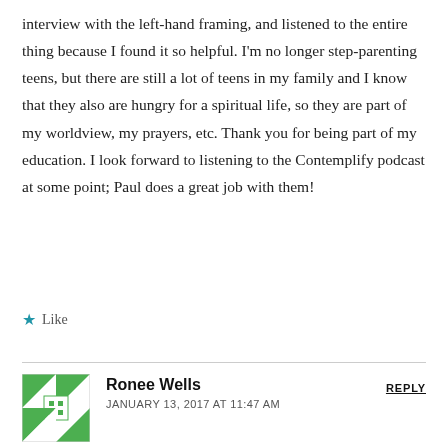interview with the left-hand framing, and listened to the entire thing because I found it so helpful. I'm no longer step-parenting teens, but there are still a lot of teens in my family and I know that they also are hungry for a spiritual life, so they are part of my worldview, my prayers, etc. Thank you for being part of my education. I look forward to listening to the Contemplify podcast at some point; Paul does a great job with them!
★ Like
Ronee Wells — JANUARY 13, 2017 AT 11:47 AM — REPLY
There are so many nuggets of wisdom in this piece. I, too,